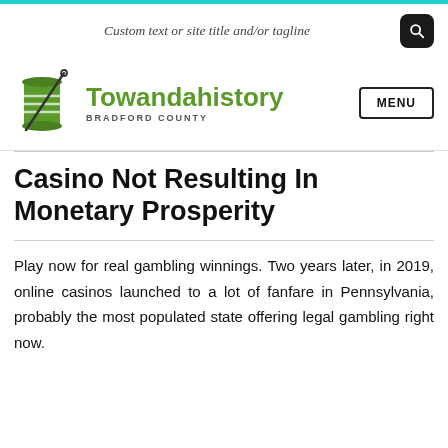Custom text or site title and/or tagline
[Figure (logo): Towandahistory Bradford County logo with green spool and needle icon]
Casino Not Resulting In Monetary Prosperity
Play now for real gambling winnings. Two years later, in 2019, online casinos launched to a lot of fanfare in Pennsylvania, probably the most populated state offering legal gambling right now.